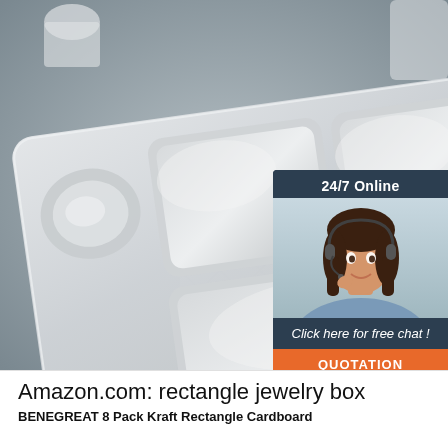[Figure (photo): Photo of a stainless steel divided meal tray with multiple compartments, placed on a gray surface with a patterned gray cloth underneath. Overlaid with a 24/7 online customer service chat widget showing a woman with a headset, text 'Click here for free chat!' and an orange 'QUOTATION' button. A 'TOP' arrow icon is visible in the lower right of the image area.]
Amazon.com: rectangle jewelry box
BENEGREAT 8 Pack Kraft Rectangle Cardboard